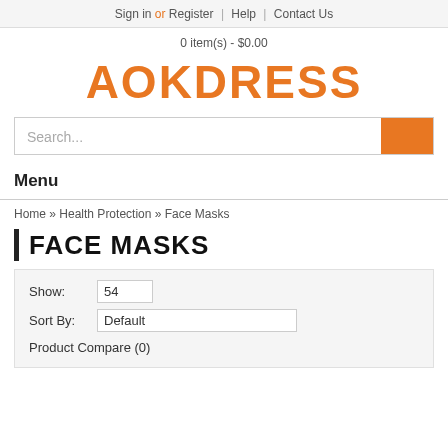Sign in or Register | Help | Contact Us
0 item(s) - $0.00
AOKDRESS
[Figure (other): Search bar with orange search button on the right]
Menu
Home » Health Protection » Face Masks
FACE MASKS
Show: 54
Sort By: Default
Product Compare (0)